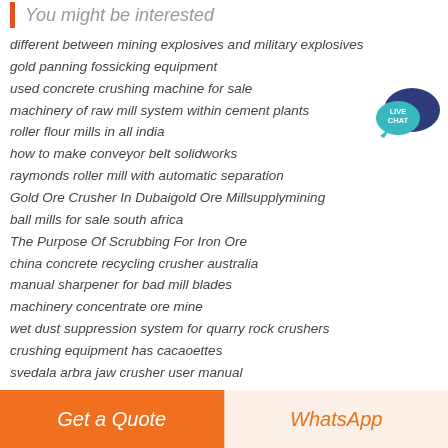You might be interested
different between mining explosives and military explosives
gold panning fossicking equipment
used concrete crushing machine for sale
machinery of raw mill system within cement plants
roller flour mills in all india
how to make conveyor belt solidworks
raymonds roller mill with automatic separation
Gold Ore Crusher In Dubaigold Ore Millsupplymining
ball mills for sale south africa
The Purpose Of Scrubbing For Iron Ore
china concrete recycling crusher australia
manual sharpener for bad mill blades
machinery concentrate ore mine
wet dust suppression system for quarry rock crushers
crushing equipment has cacaoettes
svedala arbra jaw crusher user manual
cr crusher purna machine president
market needed on grinding ball base on size
stone rock crusher with factory direct sale
used stone crushers for sale in morogoro
[Figure (illustration): Live Chat button with speech bubble icon in teal/dark blue]
Get a Quote | WhatsApp